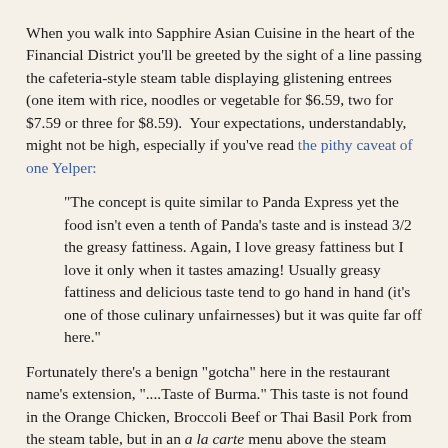When you walk into Sapphire Asian Cuisine in the heart of the Financial District you'll be greeted by the sight of a line passing the cafeteria-style steam table displaying glistening entrees (one item with rice, noodles or vegetable for $6.59, two for $7.59 or three for $8.59).  Your expectations, understandably, might not be high, especially if you've read the pithy caveat of one Yelper:
"The concept is quite similar to Panda Express yet the food isn't even a tenth of Panda's taste and is instead 3/2 the greasy fattiness. Again, I love greasy fattiness but I love it only when it tastes amazing! Usually greasy fattiness and delicious taste tend to go hand in hand (it's one of those culinary unfairnesses) but it was quite far off here."
Fortunately there's a benign "gotcha" here in the restaurant name's extension, "....Taste of Burma." This taste is not found in the Orange Chicken, Broccoli Beef or Thai Basil Pork from the steam table, but in an a la carte menu above the steam table, titled "Made to Order." Made to order (or at least assembled to order) they are, and include a range of Burmese classics like Mohinga (catfish